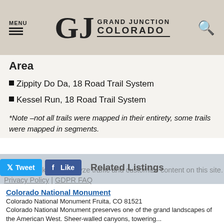MENU | GJ GRAND JUNCTION COLORADO
Area
Zippity Do Da, 18 Road Trail System
Kessel Run, 18 Road Trail System
*Note –not all trails were mapped in their entirety, some trails were mapped in segments.
Tweet  Like  Related Listings
We use cookies to analyze traffic and customize content on this site.
Privacy Policy | GDPR FAQ
Colorado National Monument
Colorado National Monument Fruita, CO 81521
Colorado National Monument preserves one of the grand landscapes of the American West. Sheer-walled canyons, towering...
Lunch Loop Bike Park
Monument Road Grand Junction, CO 81507
The Lunch Loop Bike Park is located right off the Lunch Loop